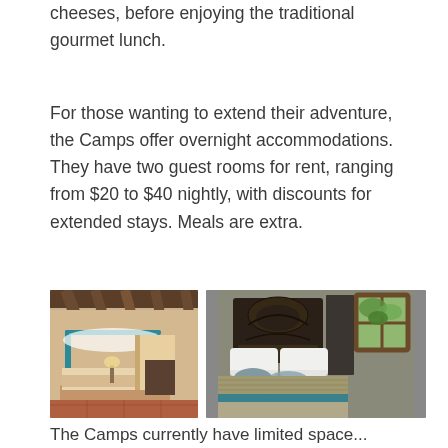cheeses, before enjoying the traditional gourmet lunch.
For those wanting to extend their adventure, the Camps offer overnight accommodations. They have two guest rooms for rent, ranging from $20 to $40 nightly, with discounts for extended stays. Meals are extra.
[Figure (photo): Two photos of guest rooms: left photo shows a canopy bed with teal/blue frame and rustic wooden ceiling beams; right photo shows a bed with dark ornate headboard, white pillows, decorative cushions, teal accent, and an open window with greenery outside.]
The Camps currently have limited space...